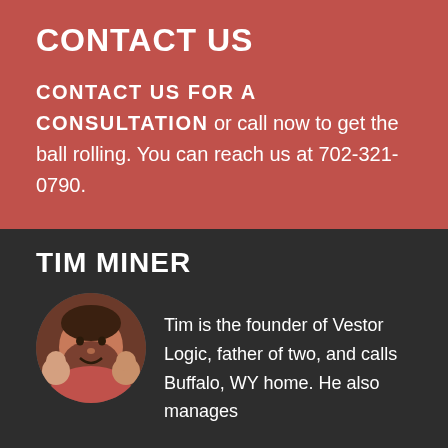CONTACT US
CONTACT US FOR A CONSULTATION or call now to get the ball rolling. You can reach us at 702-321-0790.
TIM MINER
[Figure (photo): Circular portrait photo of Tim Miner with two children]
Tim is the founder of Vestor Logic, father of two, and calls Buffalo, WY home. He also manages MODERN STEADER, an edible education company he co-founded in 2013.